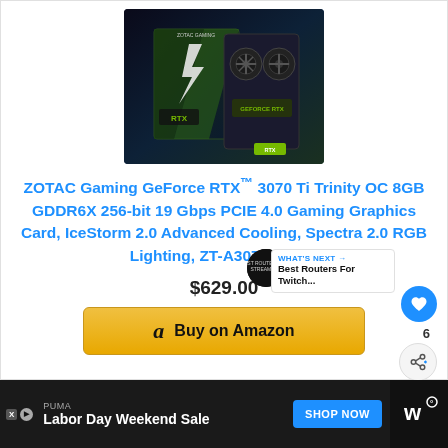[Figure (photo): ZOTAC Gaming GeForce RTX 3070 Ti Trinity OC graphics card product image with box and card shown side by side]
ZOTAC Gaming GeForce RTX™ 3070 Ti Trinity OC 8GB GDDR6X 256-bit 19 Gbps PCIE 4.0 Gaming Graphics Card, IceStorm 2.0 Advanced Cooling, Spectra 2.0 RGB Lighting, ZT-A30710J-10P
$629.00
Buy on Amazon
WHAT'S NEXT → Best Routers For Twitch...
PUMA
Labor Day Weekend Sale
SHOP NOW